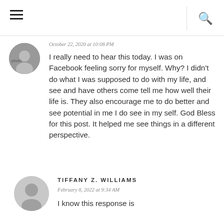October 22, 2020 at 10:08 PM
I really need to hear this today. I was on Facebook feeling sorry for myself. Why? I didn't do what I was supposed to do with my life, and see and have others come tell me how well their life is. They also encourage me to do better and see potential in me I do see in my self. God Bless for this post. It helped me see things in a different perspective.
TIFFANY Z. WILLIAMS
February 8, 2022 at 9:34 AM
I know this response is